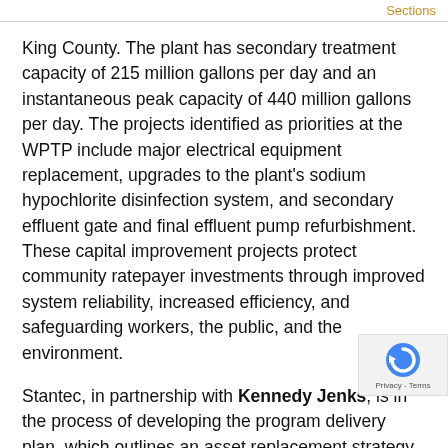Sections
King County. The plant has secondary treatment capacity of 215 million gallons per day and an instantaneous peak capacity of 440 million gallons per day. The projects identified as priorities at the WPTP include major electrical equipment replacement, upgrades to the plant's sodium hypochlorite disinfection system, and secondary effluent gate and final effluent pump refurbishment. These capital improvement projects protect community ratepayer investments through improved system reliability, increased efficiency, and safeguarding workers, the public, and the environment.
Stantec, in partnership with Kennedy Jenks, is in the process of developing the program delivery plan, which outlines an asset replacement strategy to maintain reliable opera... The team is also ascertaining permit compliance for... nearly 55-year-old facility. As part of the five-year contract,